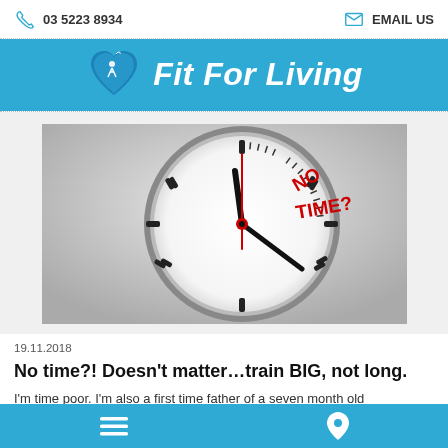03 5223 8934   EMAIL US
Fit For Living
[Figure (photo): Close-up of a clock face with red clock hands pointing to approximately 12:13. The text 'NO TIME?' is printed in bold red letters on the clock face in the upper right quadrant.]
19.11.2018
No time?! Doesn't matter...train BIG, not long.
I'm time poor. I'm also a first time father of a seven month old
Navigation menu and location icons